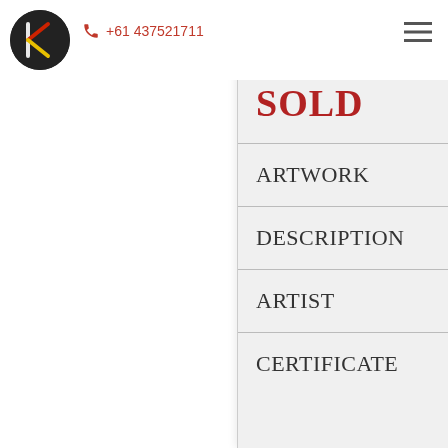[Figure (logo): Circular black logo with stylized red and yellow K design]
+61 437521711
[Figure (other): Hamburger menu icon (three horizontal lines)]
ARTWORK: Ceramic Plate
ARTIST: Evelyn Young
SOLD
ARTWORK
DESCRIPTION
ARTIST
CERTIFICATE